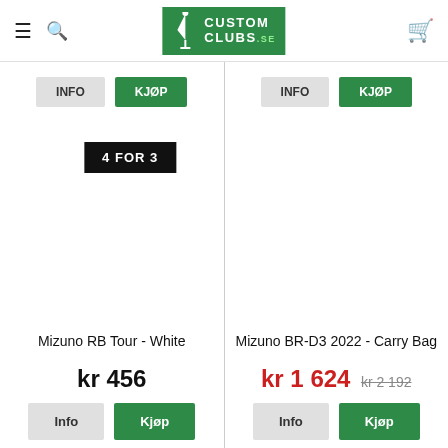[Figure (logo): Custom Clubs .se logo in green box with golfer icon]
[Figure (screenshot): Partially visible row with Info and Kjøp buttons for two products]
[Figure (screenshot): 4 FOR 3 badge over left product cell]
Mizuno RB Tour - White
kr 456
Mizuno BR-D3 2022 - Carry Bag
kr 1 624 kr 2 192
Info
Kjøp
Info
Kjøp